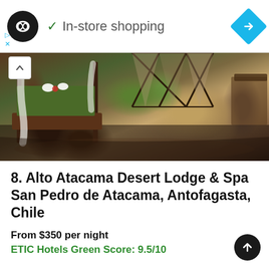[Figure (logo): Circular black logo with infinity/arrow symbol and checkmark with 'In-store shopping' text, plus blue diamond navigation icon]
[Figure (photo): Interior photo of Alto Atacama Desert Lodge & Spa showing a wooden four-poster bed with green bedding, white curtains, geometric patterned wall, and wooden furniture, dark hardwood floors]
8. Alto Atacama Desert Lodge & Spa San Pedro de Atacama, Antofagasta, Chile
From $350 per night
ETIC Hotels Green Score: 9.5/10